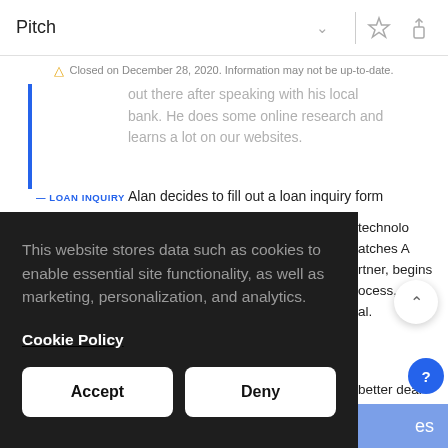Pitch
⚠ Closed on December 28, 2020. Information may not be up-to-date.
out there after speaking with his local bank. He does some online research and learns a lot on our websites.
LOAN INQUIRY
Alan decides to fill out a loan inquiry form
This website stores data such as cookies to enable essential site functionality, as well as marketing, personalization, and analytics.
Cookie Policy
Accept
Deny